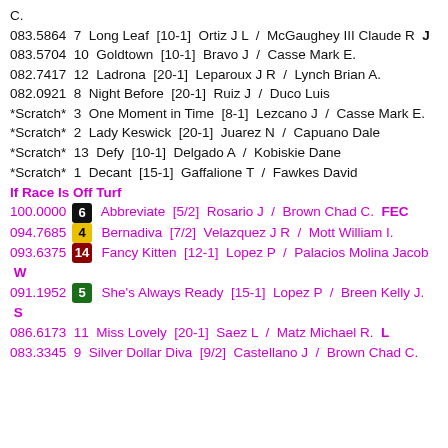C.
083.5864  7  Long Leaf  [10-1]  Ortiz J L  /  McGaughey III Claude R  J
083.5704  10  Goldtown  [10-1]  Bravo J  /  Casse Mark E.
082.7417  12  Ladrona  [20-1]  Leparoux J R  /  Lynch Brian A.
082.0921  8  Night Before  [20-1]  Ruiz J  /  Duco Luis
*Scratch*  3  One Moment in Time  [8-1]  Lezcano J  /  Casse Mark E.
*Scratch*  2  Lady Keswick  [20-1]  Juarez N  /  Capuano Dale
*Scratch*  13  Defy  [10-1]  Delgado A  /  Kobiskie Dane
*Scratch*  1  Decant  [15-1]  Gaffalione T  /  Fawkes David
If Race Is Off Turf
100.0000  6  Abbreviate  [5/2]  Rosario J  /  Brown Chad C.  FEC
094.7685  4  Bernadiva  [7/2]  Velazquez J R  /  Mott William I.
093.6375  14  Fancy Kitten  [12-1]  Lopez P  /  Palacios Molina Jacob  W
091.1952  5  She's Always Ready  [15-1]  Lopez P  /  Breen Kelly J.  S
086.6173  11  Miss Lovely  [20-1]  Saez L  /  Matz Michael R.  L
083.3345  9  Silver Dollar Diva  [9/2]  Castellano J  /  Brown Chad C.